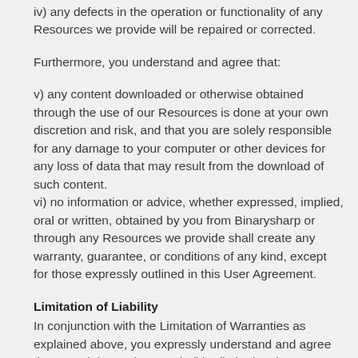iv) any defects in the operation or functionality of any Resources we provide will be repaired or corrected.
Furthermore, you understand and agree that:
v) any content downloaded or otherwise obtained through the use of our Resources is done at your own discretion and risk, and that you are solely responsible for any damage to your computer or other devices for any loss of data that may result from the download of such content.
vi) no information or advice, whether expressed, implied, oral or written, obtained by you from Binarysharp or through any Resources we provide shall create any warranty, guarantee, or conditions of any kind, except for those expressly outlined in this User Agreement.
Limitation of Liability
In conjunction with the Limitation of Warranties as explained above, you expressly understand and agree that any claim against us shall be limited to the amount you paid, if any, for use of products and/or services. Binarysharp will not be liable for any direct, indirect, incidental, consequential or exemplary loss or